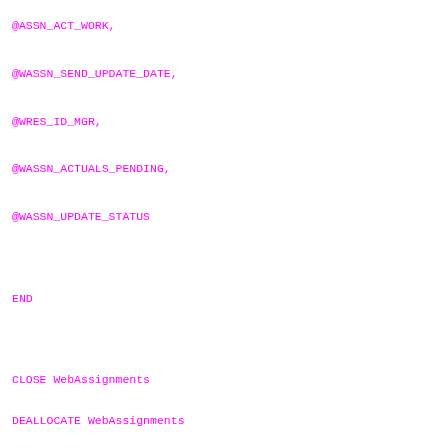@ASSN_ACT_WORK,
@WASSN_SEND_UPDATE_DATE,
@WRES_ID_MGR,
@WASSN_ACTUALS_PENDING,
@WASSN_UPDATE_STATUS
END
CLOSE WebAssignments
DEALLOCATE WebAssignments